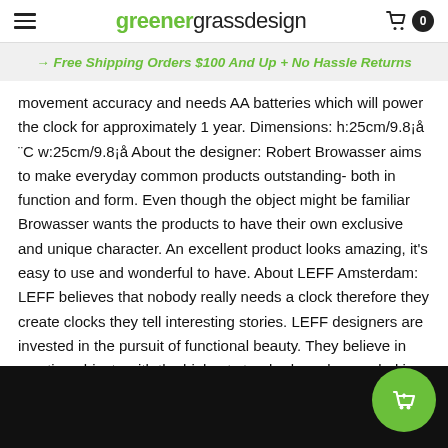greenergrassdesign — cart 0
→ Free Shipping Orders $100 And Up + No Hassle Returns
movement accuracy and needs AA batteries which will power the clock for approximately 1 year. Dimensions: h:25cm/9.8¡å ¨C w:25cm/9.8¡å About the designer: Robert Browasser aims to make everyday common products outstanding- both in function and form. Even though the object might be familiar Browasser wants the products to have their own exclusive and unique character. An excellent product looks amazing, it's easy to use and wonderful to have. About LEFF Amsterdam: LEFF believes that nobody really needs a clock therefore they create clocks they tell interesting stories. LEFF designers are invested in the pursuit of functional beauty. They believe in creating objects with the highest standards and grounded in the best ideas/concepts. They have a reverence for tradition however they are happy to challenge convention.
[Figure (other): Dark image block at bottom of page with green floating cart/shopping bag button]